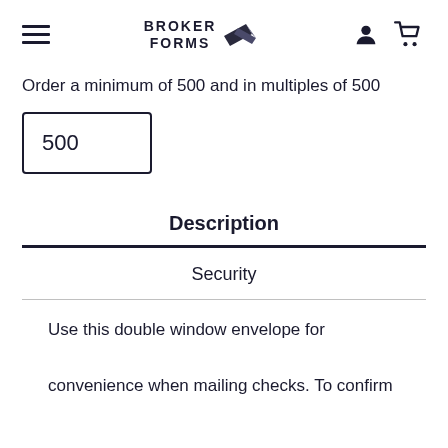BROKER FORMS [logo with menu, user, and cart icons]
Order a minimum of 500 and in multiples of 500
500
Description
Security
Use this double window envelope for convenience when mailing checks. To confirm